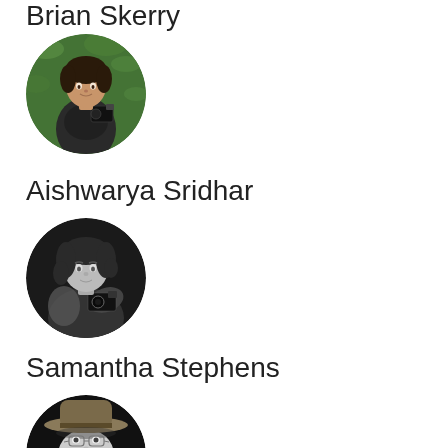Brian Skerry
[Figure (photo): Circular cropped portrait photo of Aishwarya Sridhar, a young woman holding a camera, standing outdoors with green foliage in the background, color photo]
Aishwarya Sridhar
[Figure (photo): Circular cropped portrait photo of a woman holding a camera, black and white photo, woman with curly hair looking to the side]
Samantha Stephens
[Figure (photo): Circular cropped portrait photo of a man wearing a wide-brimmed hat, black and white photo, partially visible at bottom of page]